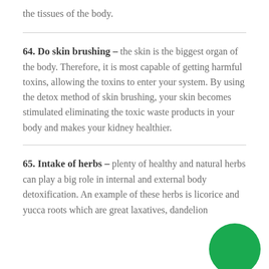the tissues of the body.
64. Do skin brushing – the skin is the biggest organ of the body. Therefore, it is most capable of getting harmful toxins, allowing the toxins to enter your system. By using the detox method of skin brushing, your skin becomes stimulated eliminating the toxic waste products in your body and makes your kidney healthier.
65. Intake of herbs – plenty of healthy and natural herbs can play a big role in internal and external body detoxification. An example of these herbs is licorice and yucca roots which are great laxatives, dandelion